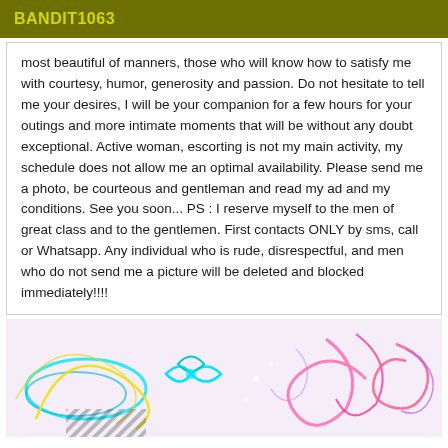BANDIT1063
most beautiful of manners, those who will know how to satisfy me with courtesy, humor, generosity and passion. Do not hesitate to tell me your desires, I will be your companion for a few hours for your outings and more intimate moments that will be without any doubt exceptional. Active woman, escorting is not my main activity, my schedule does not allow me an optimal availability. Please send me a photo, be courteous and gentleman and read my ad and my conditions. See you soon... PS : I reserve myself to the men of great class and to the gentlemen. First contacts ONLY by sms, call or Whatsapp. Any individual who is rude, disrespectful, and men who do not send me a picture will be deleted and blocked immediately!!!!
[Figure (illustration): Colorful swirling neon light illustration with pink, cyan, yellow, and rainbow colors on a light background]